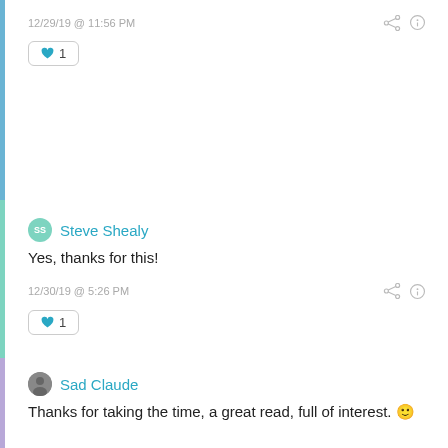12/29/19 @ 11:56 PM
[Figure (infographic): Like button with heart icon showing count 1]
Steve Shealy
Yes, thanks for this!
12/30/19 @ 5:26 PM
[Figure (infographic): Like button with heart icon showing count 1]
Sad Claude
Thanks for taking the time, a great read, full of interest. 🙂